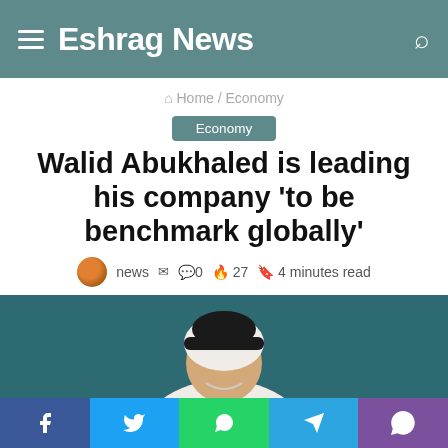Eshrag News
Home / Economy
Economy
Walid Abukhaled is leading his company 'to be benchmark globally'
news  0  27  4 minutes read
[Figure (photo): Photo of a man wearing a white thobe and black keffiyeh/headband, cropped to show upper body and head against a teal background]
Facebook Twitter WhatsApp Telegram Viber social sharing buttons